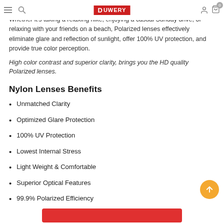DUWERY [logo] navigation header
Whether it's taking a relaxing hike, enjoying a casual Sunday drive, or relaxing with your friends on a beach, Polarized lenses effectively eliminate glare and reflection of sunlight, offer 100% UV protection, and provide true color perception.
High color contrast and superior clarity, brings you the HD quality Polarized lenses.
Nylon Lenses Benefits
Unmatched Clarity
Optimized Glare Protection
100% UV Protection
Lowest Internal Stress
Light Weight & Comfortable
Superior Optical Features
99.9% Polarized Efficiency